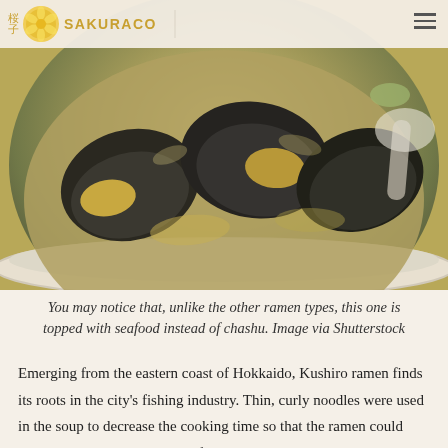[Figure (photo): A bowl of Japanese clam/seafood ramen soup with large shellfish/clams visible in a light broth, photographed from above. Sakuraco logo and navigation visible in top-left corner.]
You may notice that, unlike the other ramen types, this one is topped with seafood instead of chashu. Image via Shutterstock
Emerging from the eastern coast of Hokkaido, Kushiro ramen finds its roots in the city's fishing industry. Thin, curly noodles were used in the soup to decrease the cooking time so that the ramen could quickly be served to the local fishermen.